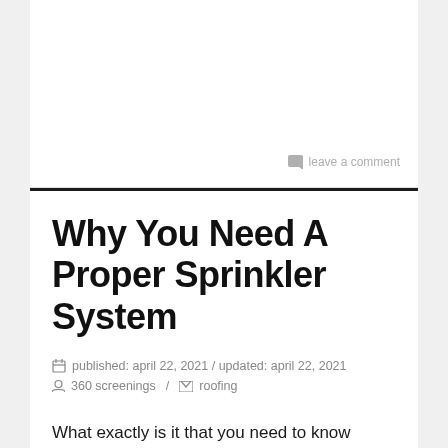leave a comment
Why You Need A Proper Sprinkler System
published: april 22, 2021 / updated: april 22, 2021
360 screenings / roofing
What exactly is it that you need to know about sprinkler system installation and maintenance?